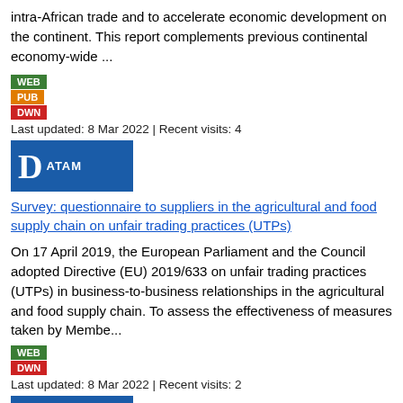intra-African trade and to accelerate economic development on the continent. This report complements previous continental economy-wide ...
[Figure (infographic): Stacked colored badges: WEB (green), PUB (orange), DWN (red)]
Last updated: 8 Mar 2022 | Recent visits: 4
[Figure (infographic): Blue card with large D letter and ATAM text]
Survey: questionnaire to suppliers in the agricultural and food supply chain on unfair trading practices (UTPs)
On 17 April 2019, the European Parliament and the Council adopted Directive (EU) 2019/633 on unfair trading practices (UTPs) in business-to-business relationships in the agricultural and food supply chain. To assess the effectiveness of measures taken by Membe...
[Figure (infographic): Stacked colored badges: WEB (green), DWN (red)]
Last updated: 8 Mar 2022 | Recent visits: 2
[Figure (infographic): Blue card with large D letter (partially visible)]